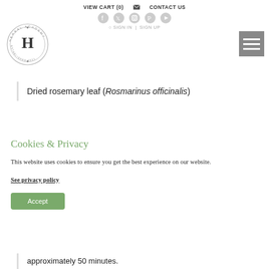VIEW CART (0)   CONTACT US
[Figure (logo): Herbal Academy International School circular stamp logo with H in center, established 2011]
Dried rosemary leaf (Rosmarinus officinalis)
Cookies & Privacy
This website uses cookies to ensure you get the best experience on our website.
See privacy policy
Accept
approximately 50 minutes.